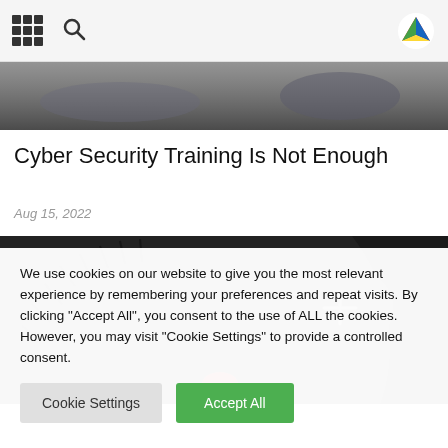navigation header with grid icon, search icon, and logo
[Figure (photo): Dark blurred hero image at top of article]
Cyber Security Training Is Not Enough
Aug 15, 2022
[Figure (photo): Close-up of Amazon Echo Dot smart speaker with pink ring light]
We use cookies on our website to give you the most relevant experience by remembering your preferences and repeat visits. By clicking "Accept All", you consent to the use of ALL the cookies. However, you may visit "Cookie Settings" to provide a controlled consent.